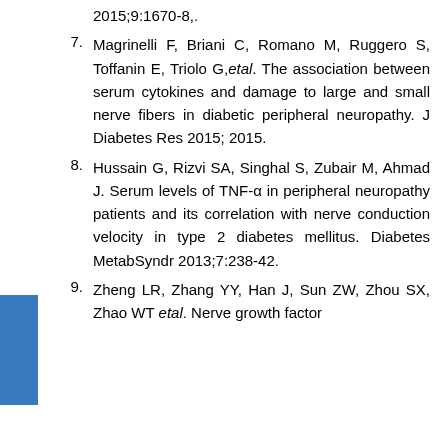2015;9:1670-8,.
7. Magrinelli F, Briani C, Romano M, Ruggero S, Toffanin E, Triolo G,etal. The association between serum cytokines and damage to large and small nerve fibers in diabetic peripheral neuropathy. J Diabetes Res 2015; 2015.
8. Hussain G, Rizvi SA, Singhal S, Zubair M, Ahmad J. Serum levels of TNF-α in peripheral neuropathy patients and its correlation with nerve conduction velocity in type 2 diabetes mellitus. Diabetes MetabSyndr 2013;7:238-42.
9. Zheng LR, Zhang YY, Han J, Sun ZW, Zhou SX, Zhao WT etal. Nerve growth factor